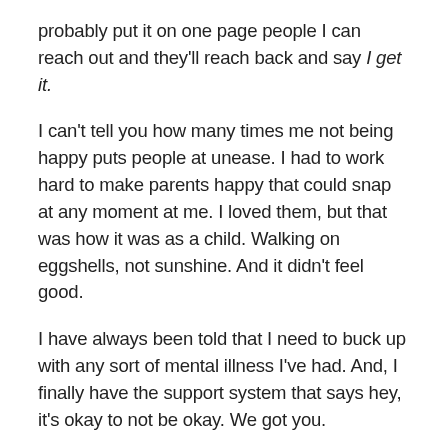probably put it on one page people I can reach out and they'll reach back and say I get it.
I can't tell you how many times me not being happy puts people at unease. I had to work hard to make parents happy that could snap at any moment at me. I loved them, but that was how it was as a child. Walking on eggshells, not sunshine. And it didn't feel good.
I have always been told that I need to buck up with any sort of mental illness I've had. And, I finally have the support system that says hey, it's okay to not be okay. We got you.
This is all to say I don't know the answer to your genetics predisposing you to mental illness. I also have a hormonal disorder that puts my body out of whack for every possible thing imagined. Except that the support system is a huge thing to rely on when you